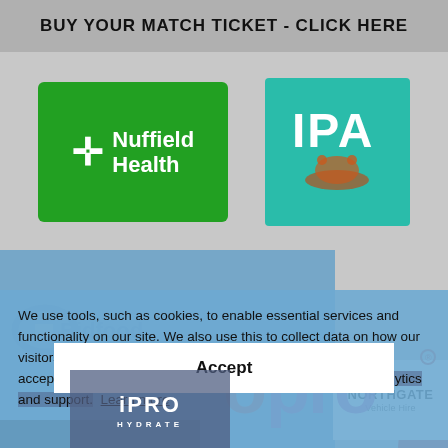BUY YOUR MATCH TICKET - CLICK HERE
[Figure (logo): Nuffield Health green logo with cross symbol]
[Figure (logo): IPA logo on teal/green background]
[Figure (logo): Bidfood logo watermark]
[Figure (logo): Northgate Vehicle Hire logo on white background]
[Figure (logo): PRO HYDRATE logo on dark blue-grey background]
[Figure (logo): OPRO logo in purple/pink and red]
We use tools, such as cookies, to enable essential services and functionality on our site. We also use this to collect data on how our visitors interact with our site, products and services. By clicking accept, you agree to our use of these tools for advertising, analytics and support. Learn more
Accept